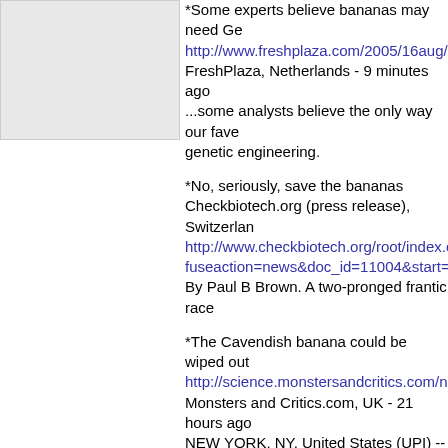[Figure (photo): Gray placeholder image in the upper left area]
*Some experts believe bananas may need Ge
http://www.freshplaza.com/2005/16aug/2_us_
FreshPlaza, Netherlands - 9 minutes ago
...some analysts believe the only way our fave
genetic engineering.
*No, seriously, save the bananas
Checkbiotech.org (press release), Switzerlan
http://www.checkbiotech.org/root/index.cfm?
fuseaction=news&doc_id=11004&start=1&co
By Paul B Brown. A two-pronged frantic race
*The Cavendish banana could be wiped out
http://science.monstersandcritics.com/news/a
Monsters and Critics.com, UK - 21 hours ago
NEW YORK, NY, United States (UPI) -- The C
bowls, is being wiped out by fungus...
*The Cavendish banana could be wiped out
http://www.physorg.com/news5802.htm
PhysOrg.com, VA - 23 hours ago
Banana plantations in Indonesia, Malaysia, A
spreading through much of Southeast Asia, re
*The Cavendish banana could be wiped out:-
http://news.webindia123.com/news/showdeta
Webindia123, India - 23 hours ago
To save the banana, scientists are trying to ge